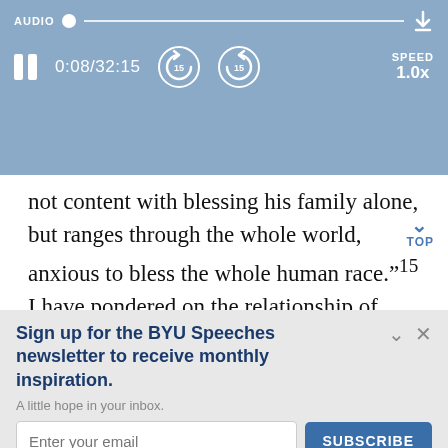[Figure (screenshot): Audio player bar with AUDIO label, progress dot and line, time display 0:08/32:15, rewind 15s and forward 15s buttons, SPEED 1.0x, and download icon]
not content with blessing his family alone, but ranges through the whole world, anxious to bless the whole human race.”¹⁵ I have pondered on the relationship of love and truth, an issue not very far from Keats’s
Sign up for the BYU Speeches newsletter to receive monthly inspiration.
A little hope in your inbox.
Enter your email
SUBSCRIBE